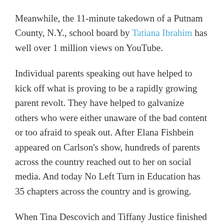Meanwhile, the 11-minute takedown of a Putnam County, N.Y., school board by Tatiana Ibrahim has well over 1 million views on YouTube.
Individual parents speaking out have helped to kick off what is proving to be a rapidly growing parent revolt. They have helped to galvanize others who were either unaware of the bad content or too afraid to speak out. After Elana Fishbein appeared on Carlson's show, hundreds of parents across the country reached out to her on social media. And today No Left Turn in Education has 35 chapters across the country and is growing.
When Tina Descovich and Tiffany Justice finished their terms as school board members in Florida, they decided to form Moms for Liberty to teach